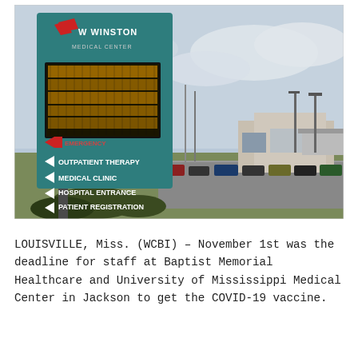[Figure (photo): Photograph of Winston Medical Center sign with directional arrows showing Outpatient Therapy, Medical Clinic, Hospital Entrance, Patient Registration, and an LED display board. Hospital building and parking lot visible in background under cloudy sky.]
LOUISVILLE, Miss. (WCBI) – November 1st was the deadline for staff at Baptist Memorial Healthcare and University of Mississippi Medical Center in Jackson to get the COVID-19 vaccine.